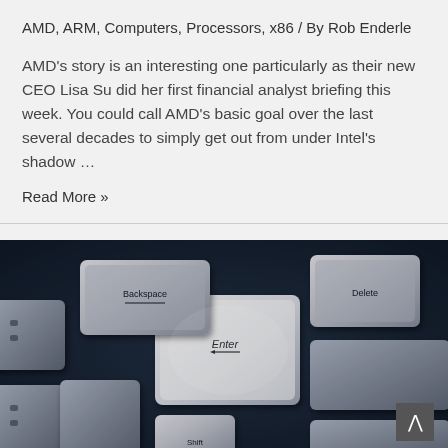AMD, ARM, Computers, Processors, x86 / By Rob Enderle
AMD’s story is an interesting one particularly as their new CEO Lisa Su did her first financial analyst briefing this week. You could call AMD’s basic goal over the last several decades to simply get out from under Intel’s shadow …
Read More »
[Figure (photo): Close-up photograph of a computer keyboard with metallic-looking keys in a dark blue tone. Backspace, Enter, Delete, and Shift keys are visible.]